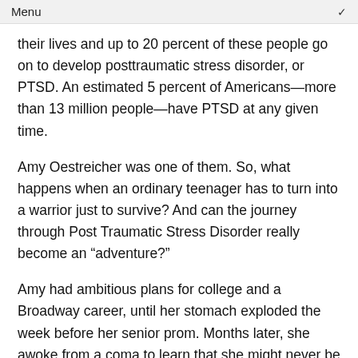Menu
their lives and up to 20 percent of these people go on to develop posttraumatic stress disorder, or PTSD. An estimated 5 percent of Americans—more than 13 million people—have PTSD at any given time.
Amy Oestreicher was one of them. So, what happens when an ordinary teenager has to turn into a warrior just to survive? And can the journey through Post Traumatic Stress Disorder really become an “adventure?”
Amy had ambitious plans for college and a Broadway career, until her stomach exploded the week before her senior prom. Months later, she awoke from a coma to learn that she might never be able to eat or